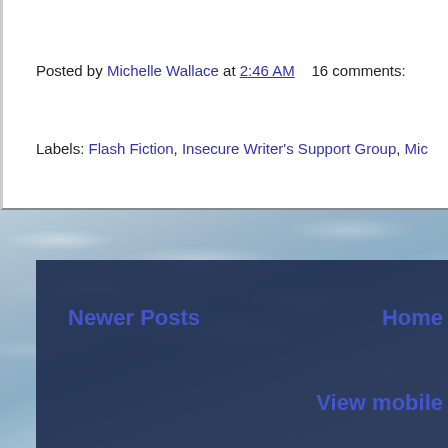Posted by Michelle Wallace at 2:46 AM    16 comments:
Labels: Flash Fiction, Insecure Writer's Support Group, Mic
Newer Posts
Home
View mobile
Subscribe to: Po
A